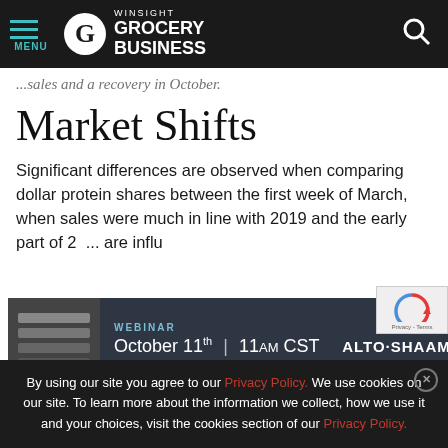MENU | Winsight Grocery Business
...sales and a recovery in October.
Market Shifts
Significant differences are observed when comparing dollar protein shares between the first week of March, when sales were much in line with 2019 and the early part of 2... are influ...
[Figure (screenshot): Webinar advertisement banner: October 11th | 11am CST | Alto-Shaam]
By using our site you agree to our Privacy Policy. We use cookies on our site. To learn more about the information we collect, how we use it and your choices, visit the cookies section of our Privacy Policy.